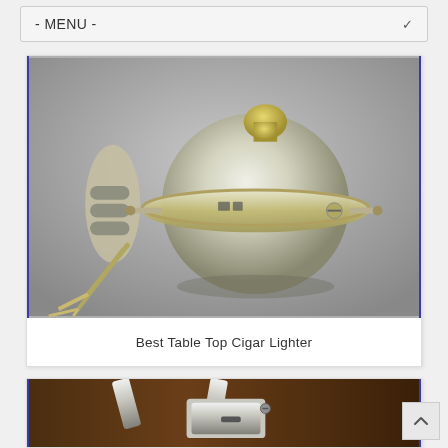- MENU -
[Figure (photo): Close-up photograph of a silver table top cigar lighter with a spherical body and metallic arms/legs, shown against a gray background]
Best Table Top Cigar Lighter
[Figure (photo): Close-up photograph of a silver/chrome table lighter mechanism showing mechanical parts against a dark brown wooden background]